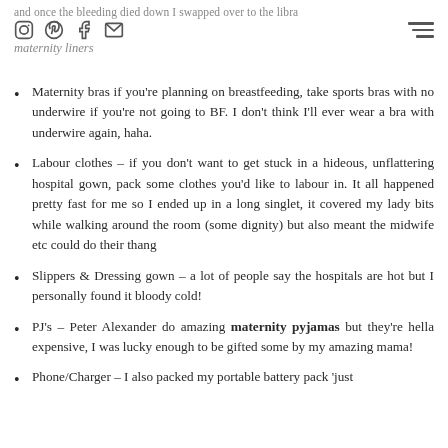and once the bleeding died down I swapped over to the libra maternity liners
Maternity bras if you're planning on breastfeeding, take sports bras with no underwire if you're not going to BF. I don't think I'll ever wear a bra with underwire again, haha.
Labour clothes – if you don't want to get stuck in a hideous, unflattering hospital gown, pack some clothes you'd like to labour in. It all happened pretty fast for me so I ended up in a long singlet, it covered my lady bits while walking around the room (some dignity) but also meant the midwife etc could do their thang
Slippers & Dressing gown – a lot of people say the hospitals are hot but I personally found it bloody cold!
PJ's – Peter Alexander do amazing maternity pyjamas but they're hella expensive, I was lucky enough to be gifted some by my amazing mama!
Phone/Charger – I also packed my portable battery pack 'just